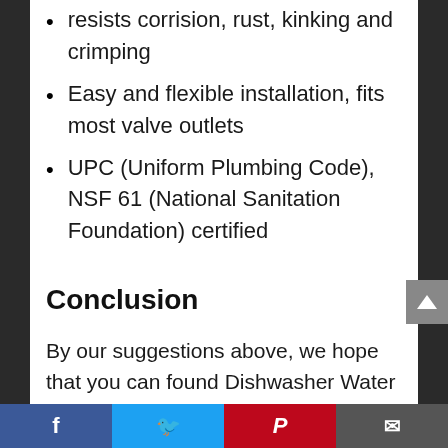resists corrision, rust, kinking and crimping
Easy and flexible installation, fits most valve outlets
UPC (Uniform Plumbing Code), NSF 61 (National Sanitation Foundation) certified
Conclusion
By our suggestions above, we hope that you can found Dishwasher Water Line Adapter for you.Please don't forget to share your experience by comment in this post. Thank
Facebook | Twitter | Pinterest | Email